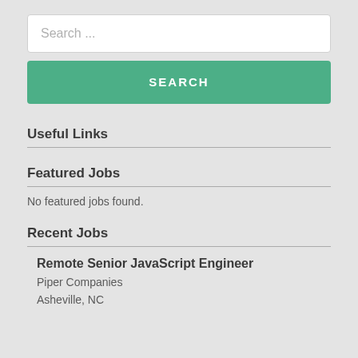Search ...
SEARCH
Useful Links
Featured Jobs
No featured jobs found.
Recent Jobs
Remote Senior JavaScript Engineer
Piper Companies
Asheville, NC